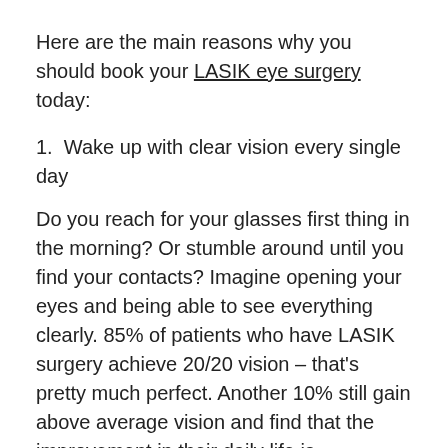Here are the main reasons why you should book your LASIK eye surgery today:
1.  Wake up with clear vision every single day
Do you reach for your glasses first thing in the morning? Or stumble around until you find your contacts? Imagine opening your eyes and being able to see everything clearly. 85% of patients who have LASIK surgery achieve 20/20 vision – that's pretty much perfect. Another 10% still gain above average vision and find that the improvement in their daily life is transformative.
2.  LASIK will reduce your risk of infection
If you wear contacts everyday, you may not be aware that you are putting yourself at risk of infection. In all likelihood, at some point you have suffered an eye